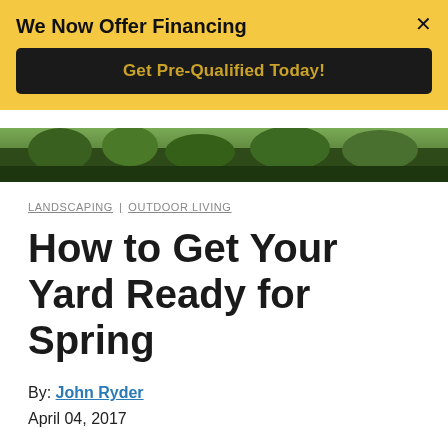We Now Offer Financing — Get Pre-Qualified Today!
[Figure (photo): Partial view of a landscaped yard with green shrubs and trees]
LANDSCAPING | OUTDOOR LIVING
How to Get Your Yard Ready for Spring
By: John Ryder
April 04, 2017
Spring is here!  With all of the rain, snow and cold that the winter brought with it, we're all anticipating